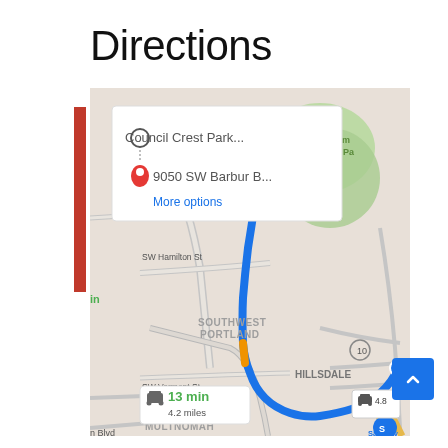Directions
[Figure (screenshot): Google Maps screenshot showing driving directions from Council Crest Park to 9050 SW Barbur Blvd in Southwest Portland, Oregon. A blue route line traces the path from Council Crest Park southward through Southwest Portland to Hillsdale. An overlay popup shows the origin 'Council Crest Park...' and destination '9050 SW Barbur B...' with a 'More options' link. A distance/time badge shows '13 min / 4.2 miles'. Street labels include SW Hamilton St, SW Vermont St, SOUTHWEST PORTLAND, HILLSDALE, MULTNOMAH, and Marquam Nature Pa[rk]. A Safeway icon appears at the bottom right. Route 10 is labeled. A small badge shows '4.8' near a car icon.]